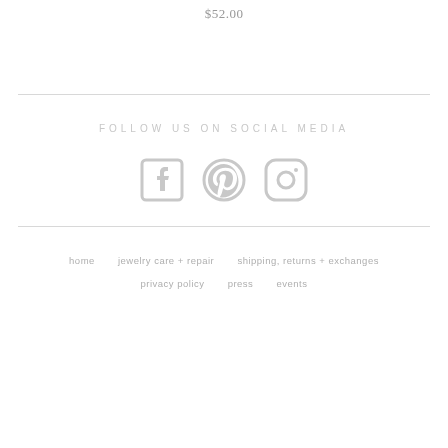$52.00
FOLLOW US ON SOCIAL MEDIA
[Figure (illustration): Three social media icons: Facebook, Pinterest, and Instagram, rendered in light gray.]
home   jewelry care + repair   shipping, returns + exchanges   privacy policy   press   events